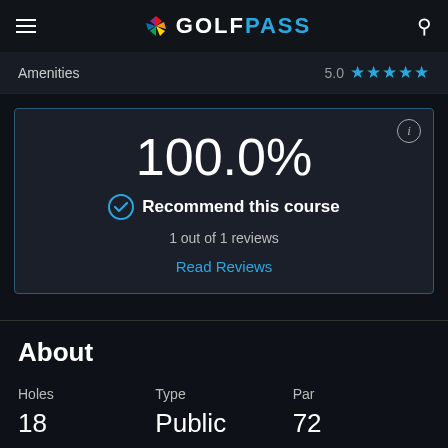GOLFPASS
Amenities 5.0 ★★★★★
[Figure (infographic): Recommendation box showing 100.0% recommend this course, 1 out of 1 reviews, with a Read Reviews link and info button]
About
| Holes | Type | Par |
| --- | --- | --- |
| 18 | Public | 72 |